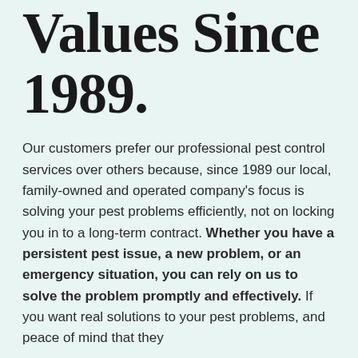Values Since 1989.
Our customers prefer our professional pest control services over others because, since 1989 our local, family-owned and operated company's focus is solving your pest problems efficiently, not on locking you in to a long-term contract. Whether you have a persistent pest issue, a new problem, or an emergency situation, you can rely on us to solve the problem promptly and effectively. If you want real solutions to your pest problems, and peace of mind that they are dealt with effectively and at a fair price